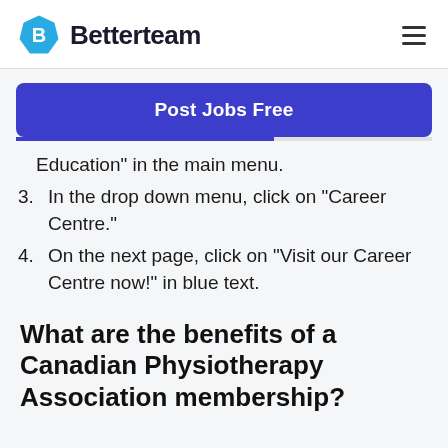Betterteam
Post Jobs Free
Education" in the main menu.
3. In the drop down menu, click on "Career Centre."
4. On the next page, click on "Visit our Career Centre now!" in blue text.
What are the benefits of a Canadian Physiotherapy Association membership?